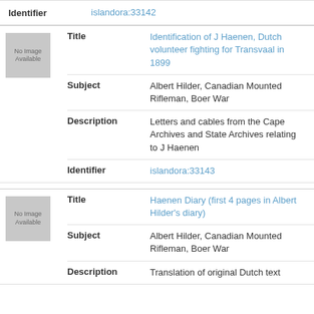Identifier: islandora:33142
[Figure (photo): No Image Available placeholder box]
Title: Identification of J Haenen, Dutch volunteer fighting for Transvaal in 1899
Subject: Albert Hilder, Canadian Mounted Rifleman, Boer War
Description: Letters and cables from the Cape Archives and State Archives relating to J Haenen
Identifier: islandora:33143
[Figure (photo): No Image Available placeholder box]
Title: Haenen Diary (first 4 pages in Albert Hilder's diary)
Subject: Albert Hilder, Canadian Mounted Rifleman, Boer War
Description: Translation of original Dutch text